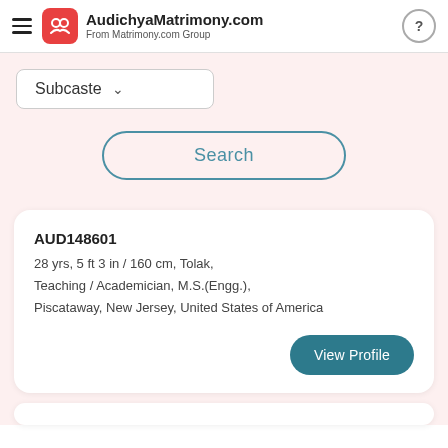AudichyaMatrimony.com
From Matrimony.com Group
Subcaste
Search
AUD148601
28 yrs, 5 ft 3 in / 160 cm, Tolak,
Teaching / Academician, M.S.(Engg.),
Piscataway, New Jersey, United States of America
View Profile